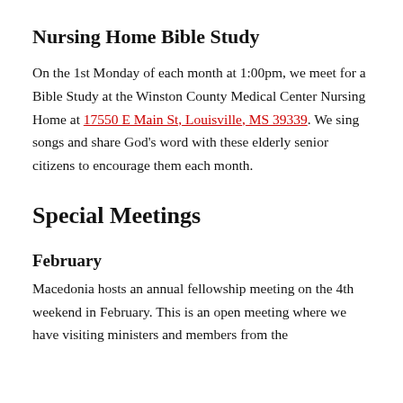Nursing Home Bible Study
On the 1st Monday of each month at 1:00pm, we meet for a Bible Study at the Winston County Medical Center Nursing Home at 17550 E Main St, Louisville, MS 39339. We sing songs and share God’s word with these elderly senior citizens to encourage them each month.
Special Meetings
February
Macedonia hosts an annual fellowship meeting on the 4th weekend in February. This is an open meeting where we have visiting ministers and members from the